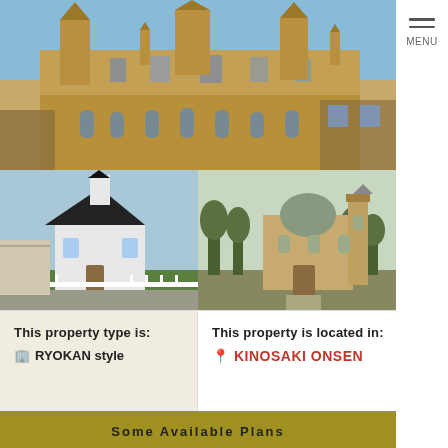[Figure (photo): Large photo of a historic stone cathedral or castle with towers and Gothic architecture, blue sky background]
[Figure (photo): Photo of a white church with tall steeple, black roof, and wooden fence in a rural setting]
[Figure (photo): Photo of a domed church or mosque with bell tower, trees in foreground]
This property type is:
🏢 RYOKAN style
This property is located in:
📍 KINOSAKI ONSEN
Some Available Plans